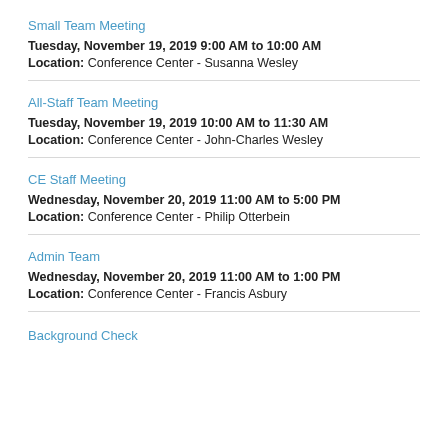Small Team Meeting
Tuesday, November 19, 2019 9:00 AM to 10:00 AM
Location: Conference Center - Susanna Wesley
All-Staff Team Meeting
Tuesday, November 19, 2019 10:00 AM to 11:30 AM
Location: Conference Center - John-Charles Wesley
CE Staff Meeting
Wednesday, November 20, 2019 11:00 AM to 5:00 PM
Location: Conference Center - Philip Otterbein
Admin Team
Wednesday, November 20, 2019 11:00 AM to 1:00 PM
Location: Conference Center - Francis Asbury
Background Check